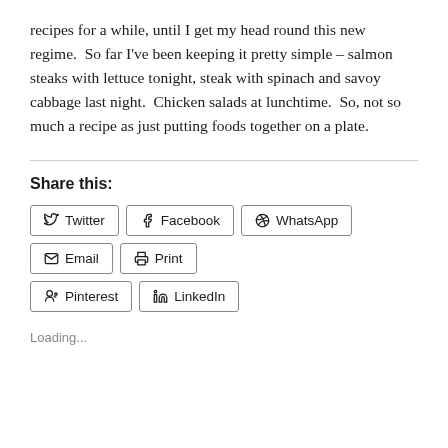recipes for a while, until I get my head round this new regime.  So far I've been keeping it pretty simple – salmon steaks with lettuce tonight, steak with spinach and savoy cabbage last night.  Chicken salads at lunchtime.  So, not so much a recipe as just putting foods together on a plate.
Share this:
Twitter
Facebook
WhatsApp
Email
Print
Pinterest
LinkedIn
Loading...